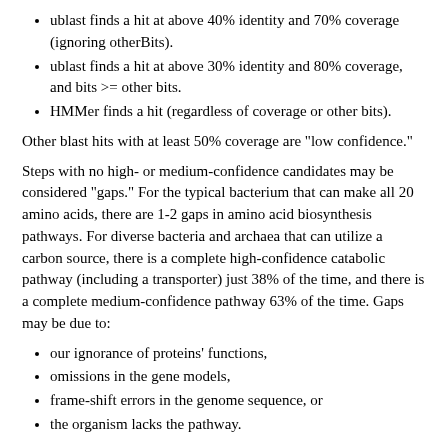ublast finds a hit at above 40% identity and 70% coverage (ignoring otherBits).
ublast finds a hit at above 30% identity and 80% coverage, and bits >= other bits.
HMMer finds a hit (regardless of coverage or other bits).
Other blast hits with at least 50% coverage are "low confidence."
Steps with no high- or medium-confidence candidates may be considered "gaps." For the typical bacterium that can make all 20 amino acids, there are 1-2 gaps in amino acid biosynthesis pathways. For diverse bacteria and archaea that can utilize a carbon source, there is a complete high-confidence catabolic pathway (including a transporter) just 38% of the time, and there is a complete medium-confidence pathway 63% of the time. Gaps may be due to:
our ignorance of proteins' functions,
omissions in the gene models,
frame-shift errors in the genome sequence, or
the organism lacks the pathway.
GapMind relies on the predicted proteins in the genome and does not search the six-frame translation. In most cases, you can search the six-frame translation by clicking on links to Curated BLAST for each step definition (in the per-step page).